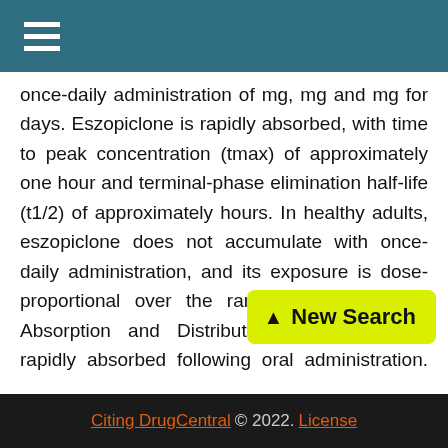☰ (navigation menu)
once-daily administration of mg, mg and mg for days. Eszopiclone is rapidly absorbed, with time to peak concentration (tmax) of approximately one hour and terminal-phase elimination half-life (t1/2) of approximately hours. In healthy adults, eszopiclone does not accumulate with once-daily administration, and its exposure is dose-proportional over the range of mg to mg.. Absorption and Distribution. Eszopiclone is rapidly absorbed following oral administration. Peak plasma concentrations are achieved within approximately one hour after oral administration. Eszopiclone is weakly bound to plasma protein (52% to 59%). The large free fraction suggests that eszopiclone disposition should not be affected by drug-drug
Citing DrugCentral © 2022. License